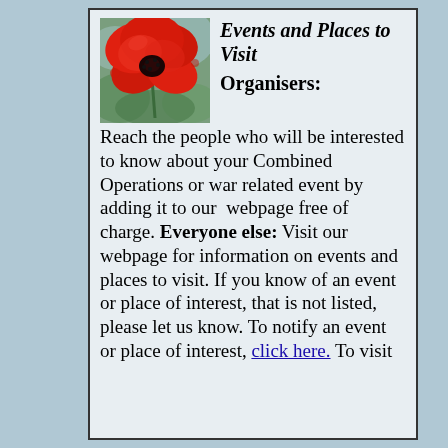[Figure (photo): Red poppy flower close-up photo]
Events and Places to Visit
Organisers: Reach the people who will be interested to know about your Combined Operations or war related event by adding it to our webpage free of charge. Everyone else: Visit our webpage for information on events and places to visit. If you know of an event or place of interest, that is not listed, please let us know. To notify an event or place of interest, click here. To visit